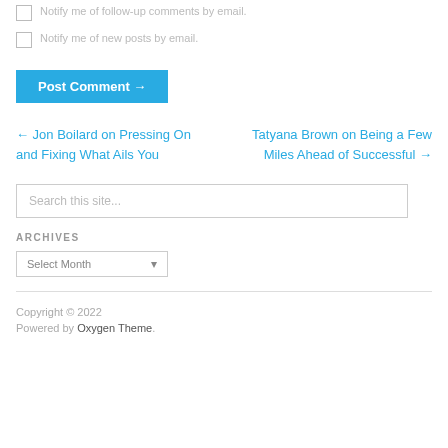Notify me of follow-up comments by email.
Notify me of new posts by email.
Post Comment →
← Jon Boilard on Pressing On and Fixing What Ails You
Tatyana Brown on Being a Few Miles Ahead of Successful →
Search this site...
ARCHIVES
Select Month
Copyright © 2022
Powered by Oxygen Theme.